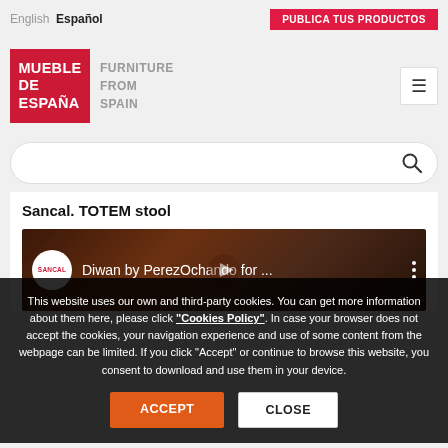English  Español  |  PUBLICA TUS PRODUCTOS
[Figure (logo): Mueble de España / Furniture From Spain logo with red background and hamburger menu icon]
[Figure (screenshot): Search bar with magnifying glass icon]
Sancal. TOTEM stool
[Figure (screenshot): YouTube video thumbnail showing Sancal channel logo and title: Diwan by PerezOchando for ...]
This website uses our own and third-party cookies. You can get more information about them here, please click "Cookies Policy". In case your browser does not accept the cookies, your navigation experience and use of some content from the webpage can be limited. If you click "Accept" or continue to browse this website, you consent to download and use them in your device.
ACCEPT  CLOSE